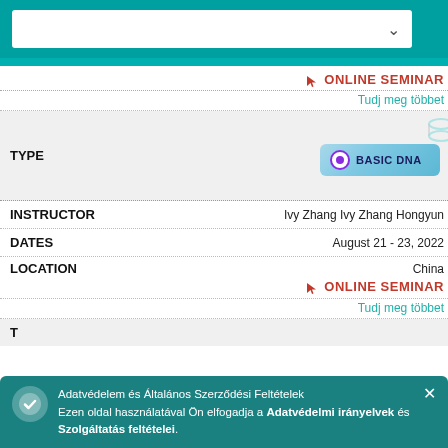[Figure (screenshot): Teal top navigation bar with white dropdown box and chevron arrow]
ONLINE SEMINAR
Tudj meg többet
[Figure (illustration): BASIC DNA badge with purple circle icon on light blue gradient background with DNA strand decoration]
TYPE
INSTRUCTOR	Ivy Zhang Ivy Zhang Hongyun
DATES	August 21 - 23, 2022
LOCATION	China
ONLINE SEMINAR
Tudj meg többet
TYPE
Adatvédelem és Általános Szerződési Feltételek
Ezen oldal használatával Ön elfogadja a Adatvédelmi irányelvek és Szolgáltatás feltételei.